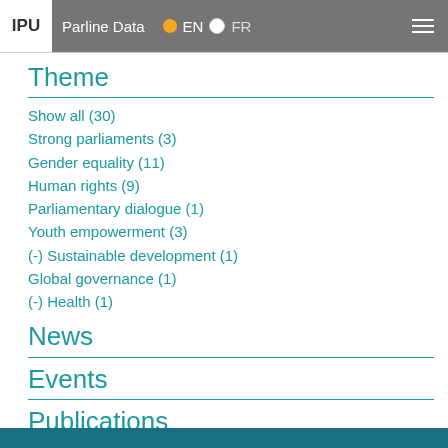IPU  Parline Data  EN  FR
Theme
Show all (30)
Strong parliaments (3)
Gender equality (11)
Human rights (9)
Parliamentary dialogue (1)
Youth empowerment (3)
(-) Sustainable development (1)
Global governance (1)
(-) Health (1)
News
Events
Publications
Handbooks (9)
(-) Infographics (1)
Issue briefs (2)